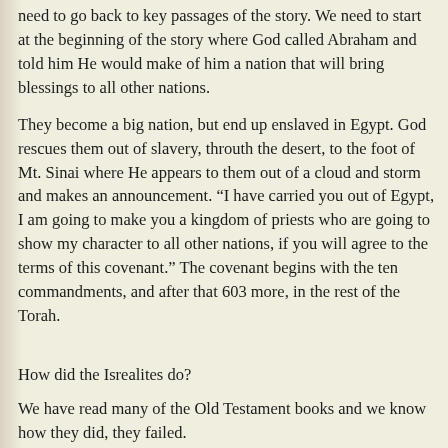need to go back to key passages of the story. We need to start at the beginning of the story where God called Abraham and told him He would make of him a nation that will bring blessings to all other nations.
They become a big nation, but end up enslaved in Egypt. God rescues them out of slavery, throuth the desert, to the foot of Mt. Sinai where He appears to them out of a cloud and storm and makes an announcement. “I have carried you out of Egypt, I am going to make you a kingdom of priests who are going to show my character to all other nations, if you will agree to the terms of this covenant.” The covenant begins with the ten commandments, and after that 603 more, in the rest of the Torah.
How did the Isrealites do?
We have read many of the Old Testament books and we know how they did, they failed.
They make poor decisions and wind up in exile in Babylon.  ^